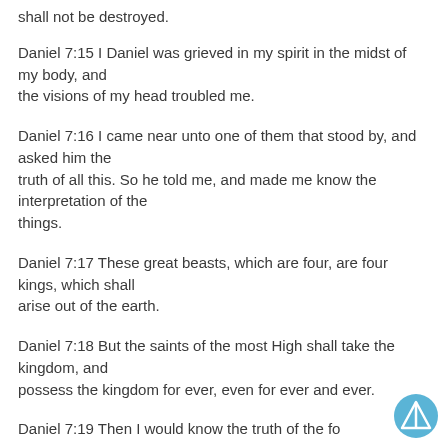shall not be destroyed.
Daniel 7:15 I Daniel was grieved in my spirit in the midst of my body, and the visions of my head troubled me.
Daniel 7:16 I came near unto one of them that stood by, and asked him the truth of all this. So he told me, and made me know the interpretation of the things.
Daniel 7:17 These great beasts, which are four, are four kings, which shall arise out of the earth.
Daniel 7:18 But the saints of the most High shall take the kingdom, and possess the kingdom for ever, even for ever and ever.
Daniel 7:19 Then I would know the truth of the fourth...